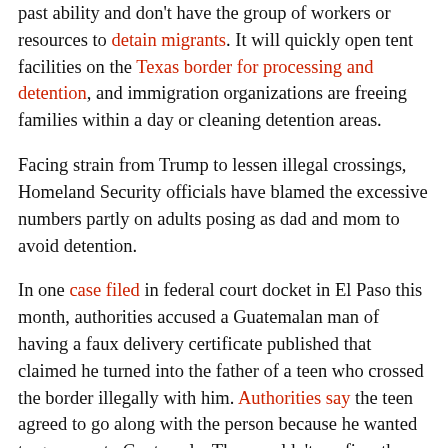past ability and don't have the group of workers or resources to detain migrants. It will quickly open tent facilities on the Texas border for processing and detention, and immigration organizations are freeing families within a day or cleaning detention areas.
Facing strain from Trump to lessen illegal crossings, Homeland Security officials have blamed the excessive numbers partly on adults posing as dad and mom to avoid detention.
In one case filed in federal court docket in El Paso this month, authorities accused a Guatemalan man of having a faux delivery certificate published that claimed he turned into the father of a teen who crossed the border illegally with him. Authorities say the teen agreed to go along with the person because he wanted to go away to Guatemala. They couldn't confirm the teen's age.